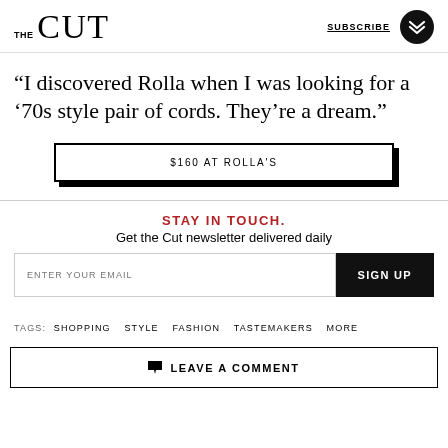THE CUT  SUBSCRIBE
“I discovered Rolla when I was looking for a ’70s style pair of cords. They’re a dream.”
$160 AT ROLLA'S
STAY IN TOUCH.
Get the Cut newsletter delivered daily
ENTER YOUR EMAIL  SIGN UP
TAGS: SHOPPING  STYLE  FASHION  TASTEMAKERS  MORE
LEAVE A COMMENT